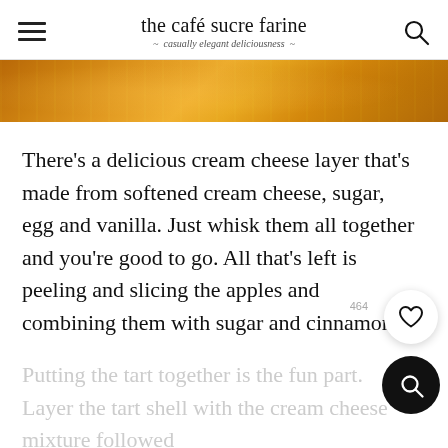the café sucre farine — casually elegant deliciousness
[Figure (photo): Close-up photo of golden-orange baked tart or pastry surface with caramelized texture]
There's a delicious cream cheese layer that's made from softened cream cheese, sugar, egg and vanilla. Just whisk them all together and you're good to go. All that's left is peeling and slicing the apples and combining them with sugar and cinnamon.
Putting the tart together is the fun part. Layer the tart shell with the cream cheese mixture followed